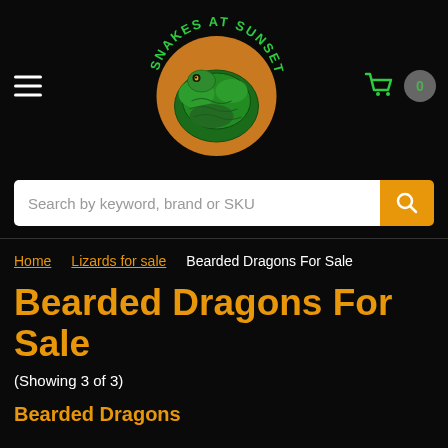[Figure (logo): Snakes at Sunset logo: a coiled green snake over an orange sunset circle with green arched text 'SNAKES AT SUNSET']
Search by keyword, brand or SKU
Home  Lizards for sale  Bearded Dragons For Sale
Bearded Dragons For Sale
(Showing 3 of 3)
Bearded Dragons